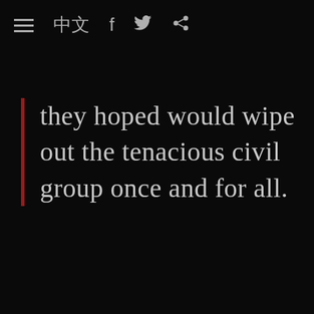≡  中文  f  🐦  ⬡
they hoped would wipe out the tenacious civil group once and for all.